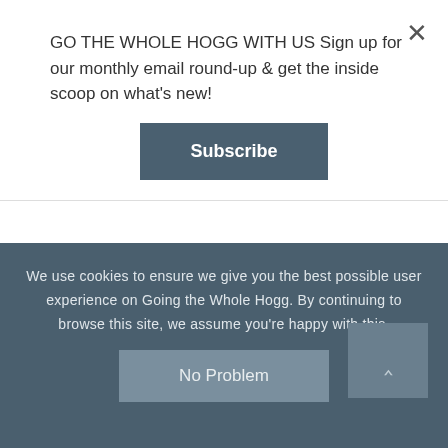GO THE WHOLE HOGG WITH US Sign up for our monthly email round-up & get the inside scoop on what's new!
Subscribe
materials – if they get wet they are heavy, take forever to dry, and you'll get cold easily. A hat, gloves and sunglasses are also needed. Make sure you have proper footwear (ideally hiking boots) that are
We use cookies to ensure we give you the best possible user experience on Going the Whole Hogg. By continuing to browse this site, we assume you're happy with this.
No Problem